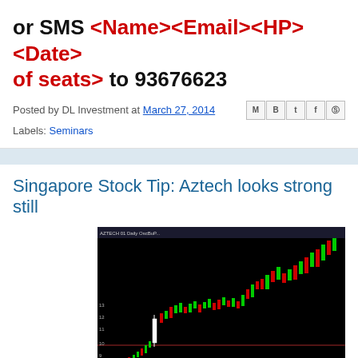or SMS <Name><Email><HP><Date><of seats> to 93676623
Posted by DL Investment at March 27, 2014
Labels: Seminars
Singapore Stock Tip: Aztech looks strong still
[Figure (screenshot): Stock candlestick chart for Aztech showing price movement with green and red candles on black background, with volume bars at bottom]
Now: $0.145
Target 1: $0.159